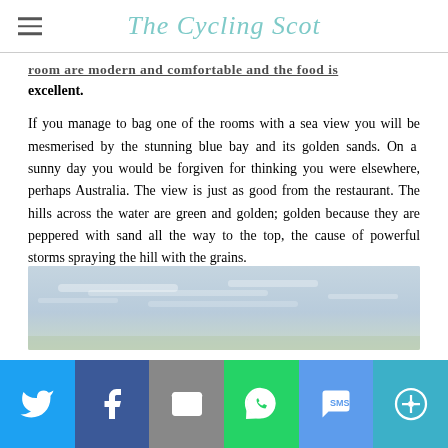The Cycling Scot
…room are modern and comfortable and the food is excellent.
If you manage to bag one of the rooms with a sea view you will be mesmerised by the stunning blue bay and its golden sands. On a sunny day you would be forgiven for thinking you were elsewhere, perhaps Australia. The view is just as good from the restaurant. The hills across the water are green and golden; golden because they are peppered with sand all the way to the top, the cause of powerful storms spraying the hill with the grains.
[Figure (photo): Partially visible landscape photo showing sky and coastal scenery]
[Figure (infographic): Social sharing bar with Twitter, Facebook, Email, WhatsApp, SMS, and More buttons]